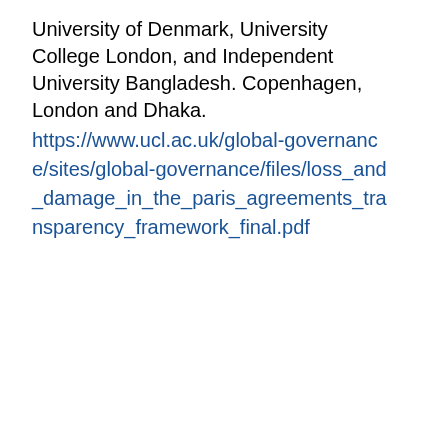University of Denmark, University College London, and Independent University Bangladesh. Copenhagen, London and Dhaka.
https://www.ucl.ac.uk/global-governance/sites/global-governance/files/loss_and_damage_in_the_paris_agreements_transparency_framework_final.pdf
[Figure (screenshot): UCL website cookie consent overlay showing 'Cookie settings' button, a dark blue UCL navigation bar with building icon, and a grey cookie banner with 'Our website uses cookies' message, Privacy Policy link, 'Accept all cookies' button, and 'Manage cookies' link.]